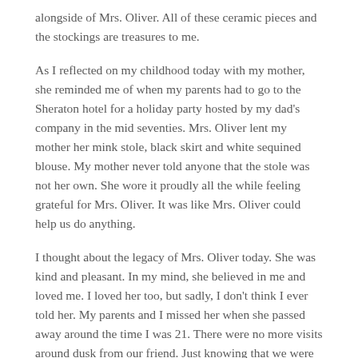alongside of Mrs. Oliver.  All of these ceramic pieces and the stockings are treasures to me.
As I reflected on my childhood today with my mother, she reminded me of when my parents had to go to the Sheraton hotel for a holiday party hosted by my dad's company in the mid seventies. Mrs. Oliver lent my mother her mink stole, black skirt and white sequined blouse.  My mother never told anyone that the stole was not her own.  She wore it proudly all the while feeling grateful for Mrs. Oliver.  It was like Mrs. Oliver could help us do anything.
I thought about the legacy of Mrs. Oliver today.  She was kind and pleasant.  In my mind, she believed in me and loved me.  I loved her too, but sadly, I don't think I ever told her.  My parents and I missed her when she passed away around the time I was 21.  There were no more visits around dusk from our friend.  Just knowing that we were special to her is a memory that I will